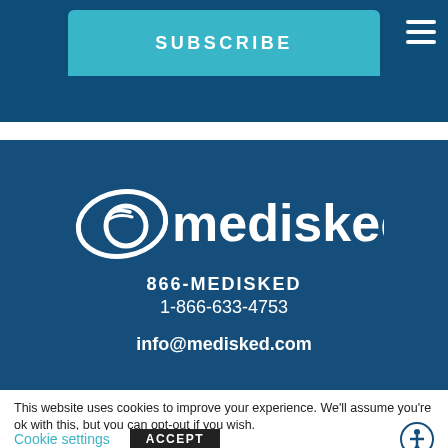SUBSCRIBE
[Figure (logo): MediSked logo: stylized eye/circle icon with swoosh lines in white, followed by the word 'medisked' in white bold text on dark blue background]
866-MEDISKED
1-866-633-4753
info@medisked.com
This website uses cookies to improve your experience. We'll assume you're ok with this, but you can opt-out if you wish.
Cookie settings  ACCEPT